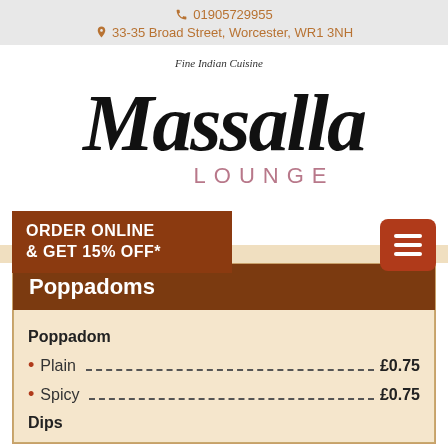01905729955 | 33-35 Broad Street, Worcester, WR1 3NH
[Figure (logo): Massalla Lounge Fine Indian Cuisine logo with stylized calligraphic text and LOUNGE subtitle]
ORDER ONLINE & GET 15% OFF*
Poppadoms
Poppadom
Plain £0.75
Spicy £0.75
Dips